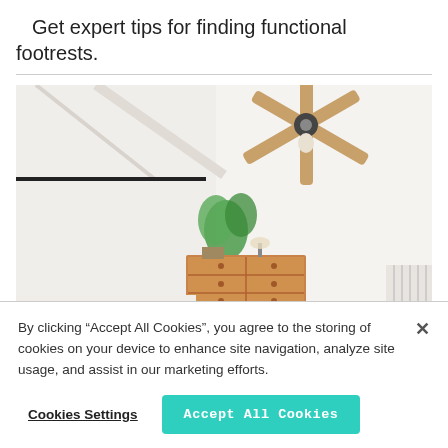Get expert tips for finding functional footrests.
[Figure (photo): Bright white bedroom interior with vaulted ceiling, ceiling fan with wooden blades, large windows showing green trees outside, a wooden dresser, and a bed in the foreground.]
By clicking “Accept All Cookies”, you agree to the storing of cookies on your device to enhance site navigation, analyze site usage, and assist in our marketing efforts.
Cookies Settings
Accept All Cookies